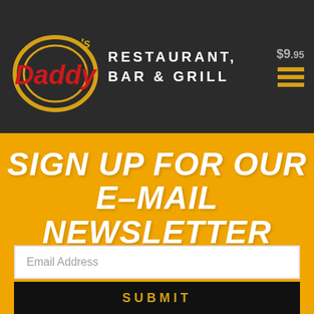[Figure (logo): Daddy O's Restaurant, Bar & Grill logo with red text 'Daddy' and circular gold ring, alongside text 'RESTAURANT, BAR & GRILL' in white uppercase letters on dark background. Price $9.95 and hamburger menu icon visible in header.]
SIGN UP FOR OUR E-MAIL NEWSLETTER
Email Address
SUBMIT